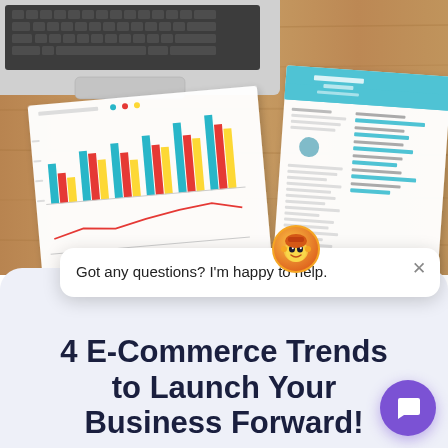[Figure (photo): Overhead photo of a wooden desk with a laptop (keyboard and trackpad visible), a printed bar and line chart, and a printed resume/CV document with teal header and horizontal bar skills section.]
[Figure (screenshot): Chat widget popup showing a chatbot avatar icon (orange/brown illustrated face) with a close X button and the message: 'Got any questions? I'm happy to help.']
4 E-Commerce Trends to Launch Your Business Forward!